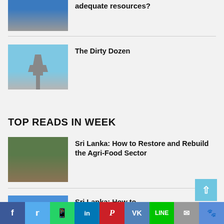[Figure (photo): Partial photo of people with water containers, cropped at top]
adequate resources?
[Figure (photo): Photo of a statue (Lady Justice style) against blue sky]
The Dirty Dozen
TOP READS IN WEEK
[Figure (photo): Photo of farming/agriculture scene in Sri Lanka]
Sri Lanka: How to Restore and Rebuild the Agri-Food Sector
[Figure (photo): Photo of people with water containers in Sri Lanka]
Sri Lanka: How to mobilize adequate resources?